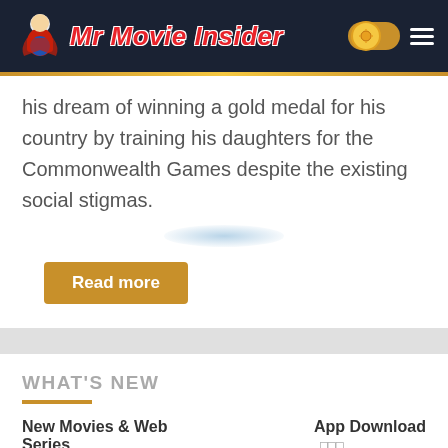[Figure (logo): Mr Movie Insider website header with logo (superhero figure and red italic text 'Mr Movie Insider' on dark navy background), a gold toggle button, and a hamburger menu icon]
his dream of winning a gold medal for his country by training his daughters for the Commonwealth Games despite the existing social stigmas.
Read more
WHAT'S NEW
New Movies & Web Series
App Download
[Figure (infographic): Orange DOWNLOAD button with download icon, and a blue Telegram button labeled 'Join for New Movies']